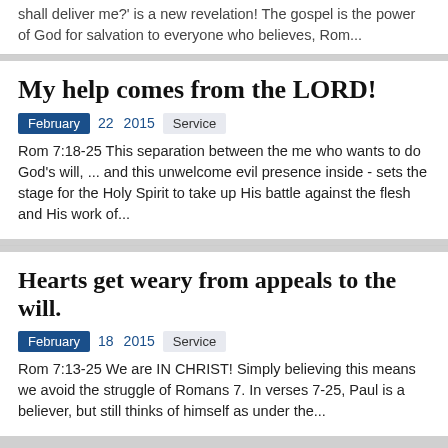shall deliver me?' is a new revelation! The gospel is the power of God for salvation to everyone who believes, Rom...
My help comes from the LORD!
February 22 2015 Service
Rom 7:18-25 This separation between the me who wants to do God's will, ... and this unwelcome evil presence inside - sets the stage for the Holy Spirit to take up His battle against the flesh and His work of...
Hearts get weary from appeals to the will.
February 18 2015 Service
Rom 7:13-25 We are IN CHRIST! Simply believing this means we avoid the struggle of Romans 7. In verses 7-25, Paul is a believer, but still thinks of himself as under the...